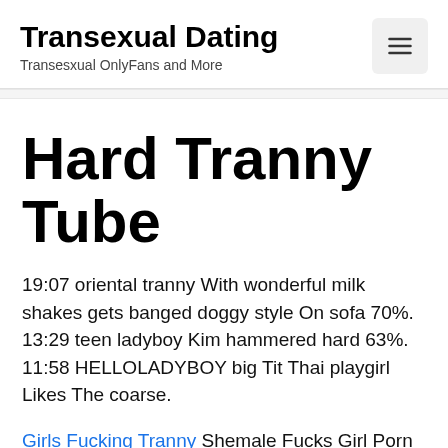Transexual Dating — Transesxual OnlyFans and More
Hard Tranny Tube
19:07 oriental tranny With wonderful milk shakes gets banged doggy style On sofa 70%. 13:29 teen ladyboy Kim hammered hard 63%. 11:58 HELLOLADYBOY big Tit Thai playgirl Likes The coarse.
Girls Fucking Tranny Shemale Fucks Girl Porn Videos. Most recent Weekly Top Monthly Top Most viewed Top rated Longest Shortest. Free